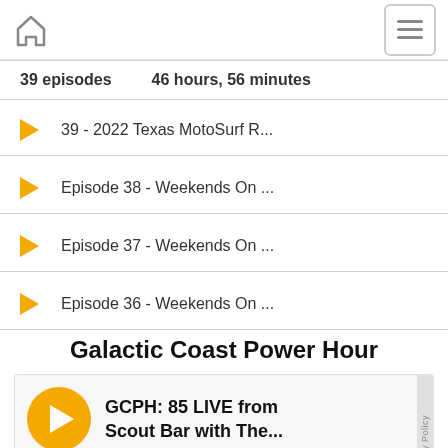Home | Menu
39 episodes    46 hours, 56 minutes
39 - 2022 Texas MotoSurf R...
Episode 38 - Weekends On ...
Episode 37 - Weekends On ...
Episode 36 - Weekends On ...
Galactic Coast Power Hour
GCPH: 85 LIVE from Scout Bar with The...
00:00    54:34